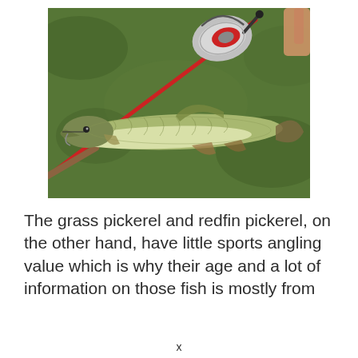[Figure (photo): A pike or pickerel fish lying on green grass next to a red fishing rod with a spinning reel.]
The grass pickerel and redfin pickerel, on the other hand, have little sports angling value which is why their age and a lot of information on those fish is mostly from
x